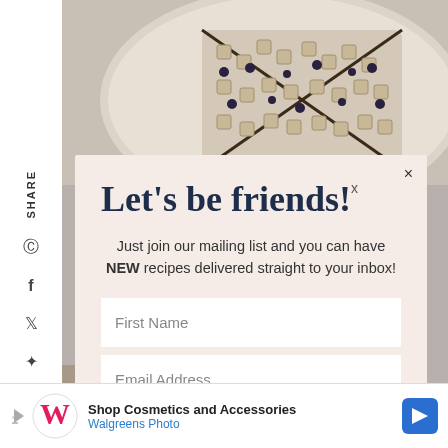[Figure (photo): Top background showing a food photo of chex mix/cereal bars on a plate]
Let's be friends!
Just join our mailing list and you can have NEW recipes delivered straight to your inbox!
[Figure (screenshot): First Name input field (white box)]
[Figure (screenshot): Email Address input field (white box)]
[Figure (screenshot): SUBSCRIBE button in magenta/pink]
[Figure (photo): Bottom background showing muffins in a baking tin]
Shop Cosmetics and Accessories
Walgreens Photo